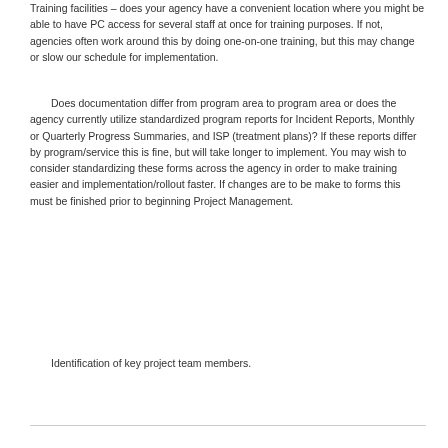Training facilities – does your agency have a convenient location where you might be able to have PC access for several staff at once for training purposes. If not, agencies often work around this by doing one-on-one training, but this may change or slow our schedule for implementation.
Does documentation differ from program area to program area or does the agency currently utilize standardized program reports for Incident Reports, Monthly or Quarterly Progress Summaries, and ISP (treatment plans)? If these reports differ by program/service this is fine, but will take longer to implement. You may wish to consider standardizing these forms across the agency in order to make training easier and implementation/rollout faster. If changes are to be make to forms this must be finished prior to beginning Project Management.
Identification of key project team members.